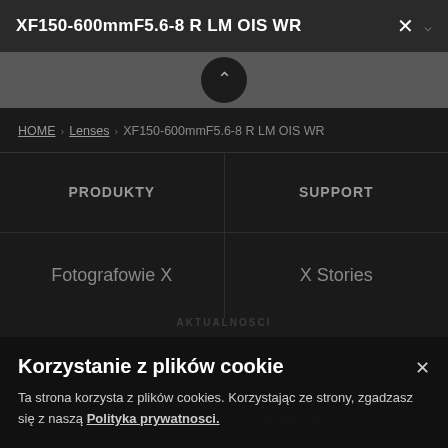XF150-600mmF5.6-8 R LM OIS WR
HOME > Lenses > XF150-600mmF5.6-8 R LM OIS WR
PRODUKTY
SUPPORT
Fotografowie X
X Stories
Korzystanie z plików cookie
Ta strona korzysta z plików cookies. Korzystając ze strony, zgadzasz się z naszą Polityka prywatnosci.